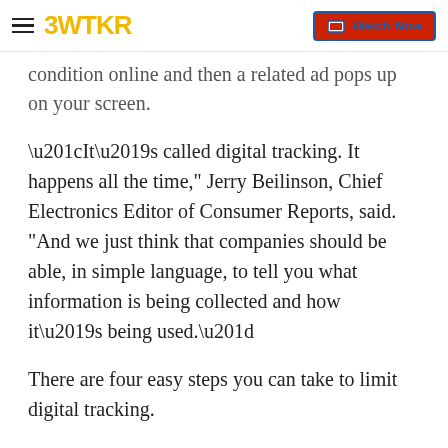3WTKR | Watch Now
condition online and then a related ad pops up on your screen.
“It’s called digital tracking. It happens all the time," Jerry Beilinson, Chief Electronics Editor of Consumer Reports, said. "And we just think that companies should be able, in simple language, to tell you what information is being collected and how it’s being used.”
There are four easy steps you can take to limit digital tracking.
First, install an ad blocker, such as Privacy Badger. It